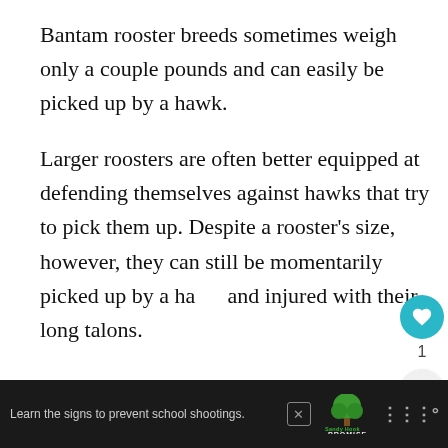Bantam rooster breeds sometimes weigh only a couple pounds and can easily be picked up by a hawk.
Larger roosters are often better equipped at defending themselves against hawks that try to pick them up. Despite a rooster's size, however, they can still be momentarily picked up by a hawk and injured with their long talons.
[Figure (other): UI overlay: heart/like button (teal circle), count '1', and share button]
[Figure (other): What's Next card with thumbnail image and text 'Can Squirrels Attack...']
[Figure (other): Advertisement bar at bottom: 'Learn the signs to prevent school shootings.' with Sandy Hook Promise logo and another brand logo]